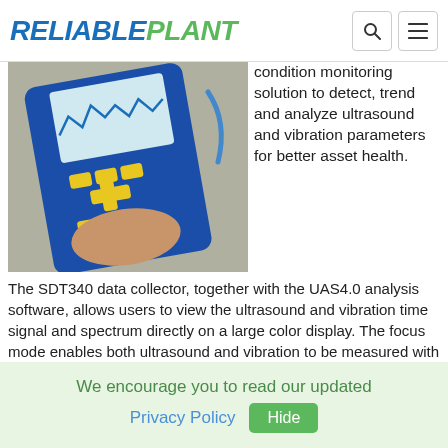RELIABLEPLANT
[Figure (photo): A hand holding a blue SDT340 handheld data collector device with yellow buttons and a screen showing a waveform/spectrum display.]
condition monitoring solution to detect, trend and analyze ultrasound and vibration parameters for better asset health.
The SDT340 data collector, together with the UAS4.0 analysis software, allows users to view the ultrasound and vibration time signal and spectrum directly on a large color display. The focus mode enables both ultrasound and vibration to be measured with
We encourage you to read our updated Privacy Policy   Hide